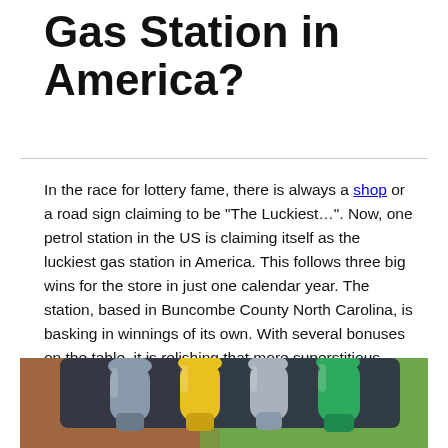Gas Station in America?
In the race for lottery fame, there is always a shop or a road sign claiming to be “The Luckiest…”. Now, one petrol station in the US is claiming itself as the luckiest gas station in America. This follows three big wins for the store in just one calendar year. The station, based in Buncombe County North Carolina, is basking in winnings of its own. With several bonuses on the table, it is relishing that more superstitious lottery players may flock to the outlet to purchase their tickets. The lucky store is the Suttles Quik Mart on Newfound Road, Leicester.
[Figure (photo): Close-up photo of multiple gas pump nozzles in yellow, grey, and green colors against a blurred red car and green foliage background.]